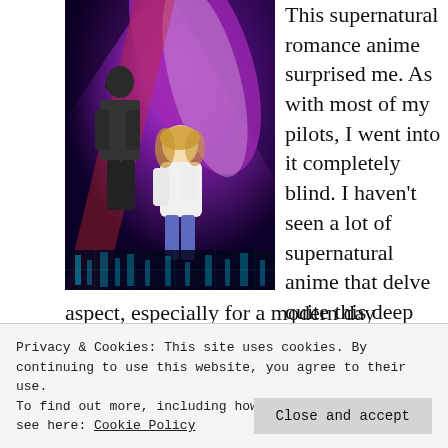[Figure (illustration): Anime promotional art featuring two characters — a male in dark clothing and a female in lighter clothing — against a vivid purple and dark supernatural background with city lights below.]
This supernatural romance anime surprised me. As with most of my pilots, I went into it completely blind. I haven't seen a lot of supernatural anime that delve quite this deep into the supernatural aspect, especially for a modern day timeline. Even
Privacy & Cookies: This site uses cookies. By continuing to use this website, you agree to their use.
To find out more, including how to control cookies, see here: Cookie Policy
Close and accept